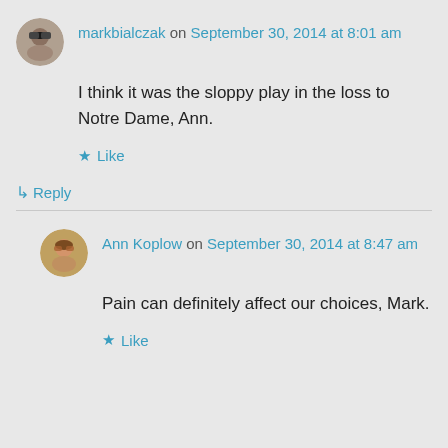markbialczak on September 30, 2014 at 8:01 am
I think it was the sloppy play in the loss to Notre Dame, Ann.
Like
Reply
Ann Koplow on September 30, 2014 at 8:47 am
Pain can definitely affect our choices, Mark.
Like